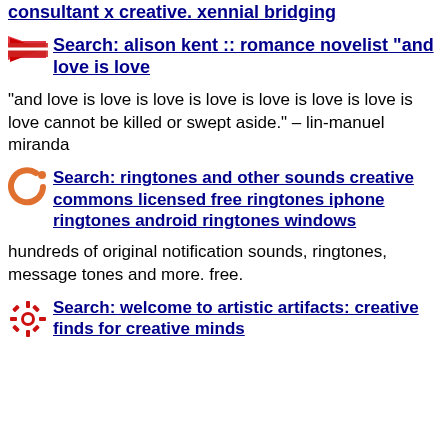consultant x creative. xennial bridging
Search: alison kent :: romance novelist "and love is love
"and love is love is love is love is love is love is love is love cannot be killed or swept aside." – lin-manuel miranda
Search: ringtones and other sounds creative commons licensed free ringtones iphone ringtones android ringtones windows
hundreds of original notification sounds, ringtones, message tones and more. free.
Search: welcome to artistic artifacts: creative finds for creative minds